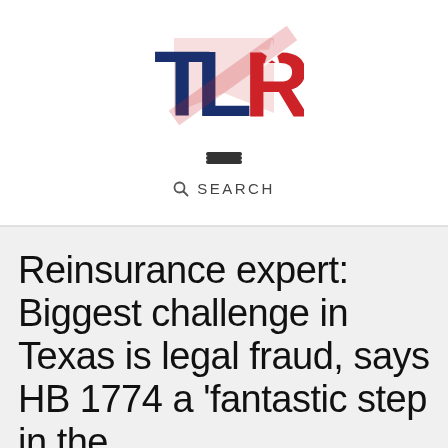[Figure (logo): TLR logo with bold red, white and blue lettering and a star on the R]
[Figure (other): Hamburger menu icon (three horizontal lines)]
🔍 SEARCH
Reinsurance expert: Biggest challenge in Texas is legal fraud, says HB 1774 a 'fantastic step in the